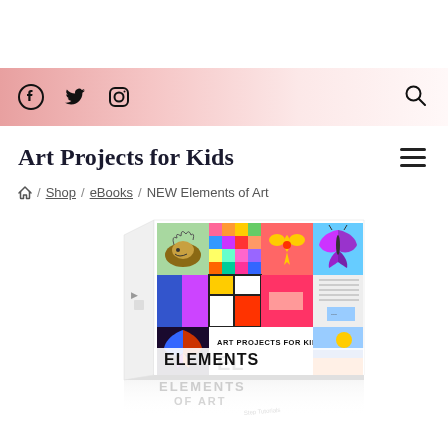Social icons: Facebook, Twitter, Instagram | Search
Art Projects for Kids
/ Shop / eBooks / NEW Elements of Art
[Figure (photo): 3D box/book mockup of 'Art Projects for Kids Elements of Art' eBook with colorful artwork panels on the cover including hedgehog, butterfly, heart flower, and colorful squares. The box is shown at an angle with a reflection below on a light surface.]